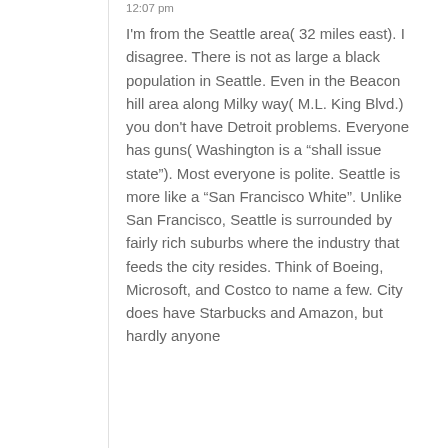12:07 pm
I'm from the Seattle area( 32 miles east). I disagree. There is not as large a black population in Seattle. Even in the Beacon hill area along Milky way( M.L. King Blvd.) you don't have Detroit problems. Everyone has guns( Washington is a “shall issue state”). Most everyone is polite. Seattle is more like a “San Francisco White”. Unlike San Francisco, Seattle is surrounded by fairly rich suburbs where the industry that feeds the city resides. Think of Boeing, Microsoft, and Costco to name a few. City does have Starbucks and Amazon, but hardly anyone